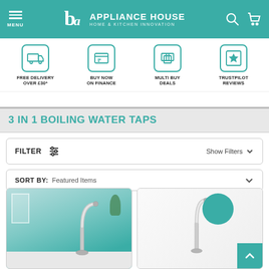[Figure (screenshot): Appliance House website header with teal background, hamburger menu, logo, search and basket icons]
[Figure (infographic): Four benefit icons: Free Delivery Over £30*, Buy Now On Finance, Multi Buy Deals, Trustpilot Reviews]
3 IN 1 BOILING WATER TAPS
FILTER  Show Filters
SORT BY: Featured Items
[Figure (photo): Chrome boiling water tap product photo on teal/white kitchen background]
[Figure (photo): Chrome boiling water tap product photo on white background with teal circle overlay]